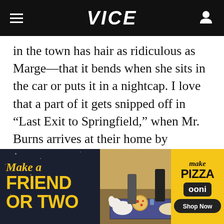VICE
in the town has hair as ridiculous as Marge—that it bends when she sits in the car or puts it in a nightcap. I love that a part of it gets snipped off in “Last Exit to Springfield,” when Mr. Burns arrives at their home by helicopter. I love that Bart’s head crown sometimes functions as his head, but sometimes functions as hair—like when it’s combed down for church or a
[Figure (photo): Advertisement banner: Left dark panel with yellow italic text 'Make a FRIEND OR TWO', center panel with photo of people and dogs at a picnic with pizza, right yellow panel with 'Make Pizza ooni Shop Now']